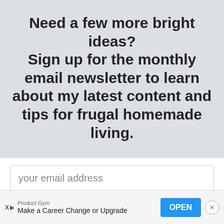Need a few more bright ideas? Sign up for the monthly email newsletter to learn about my latest content and tips for frugal homemade living.
your email address
SIGN UP NOW
Product Gym
Make a Career Change or Upgrade